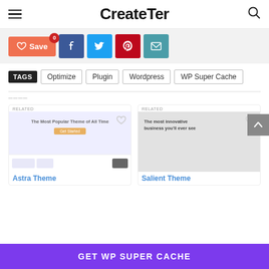CreateTer
[Figure (screenshot): Social sharing bar with Save button, Facebook, Twitter, Pinterest, and Email icons]
TAGS: Optimize | Plugin | Wordpress | WP Super Cache
[Figure (screenshot): Two product cards: Astra Theme and Salient Theme with preview screenshots]
Astra Theme
Salient Theme
GET WP SUPER CACHE